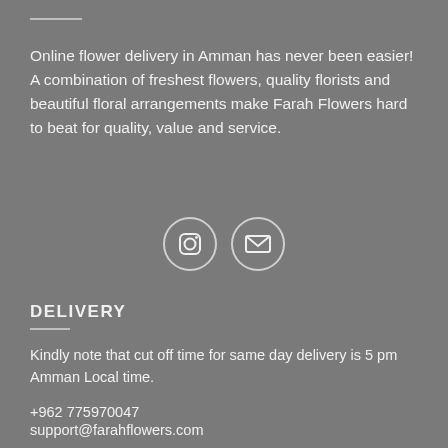Online flower delivery in Amman has never been easier! A combination of freshest flowers, quality florists and beautiful floral arrangements make Farah Flowers hard to beat for quality, value and service.
[Figure (illustration): Two circular icon buttons side by side: an Instagram camera icon and an email envelope icon, both outlined in light gray/white on gray background.]
DELIVERY
Kindly note that cut off time for same day delivery is 5 pm Amman Local time.
+962 775970047
support@farahflowers.com
Check our Terms & Conditions